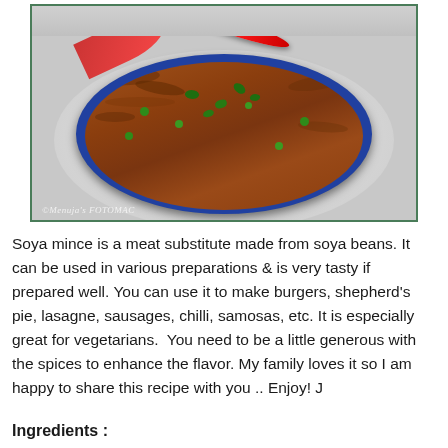[Figure (photo): A blue glass bowl filled with soya mince curry garnished with green peas, fresh cilantro, a red chili pepper, and red bell pepper slices. Watermark reads ©Menuja's FOTOMAC.]
Soya mince is a meat substitute made from soya beans. It can be used in various preparations & is very tasty if prepared well. You can use it to make burgers, shepherd's pie, lasagne, sausages, chilli, samosas, etc. It is especially great for vegetarians.  You need to be a little generous with the spices to enhance the flavor. My family loves it so I am happy to share this recipe with you .. Enjoy! J
Ingredients :